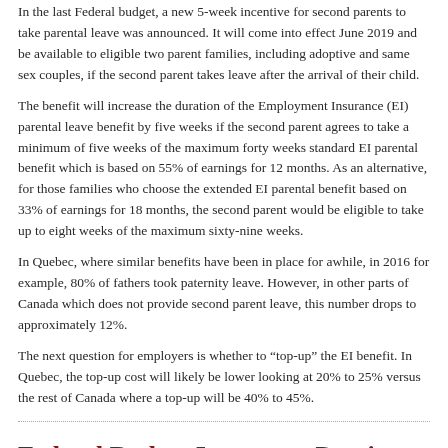In the last Federal budget, a new 5-week incentive for second parents to take parental leave was announced. It will come into effect June 2019 and be available to eligible two parent families, including adoptive and same sex couples, if the second parent takes leave after the arrival of their child.
The benefit will increase the duration of the Employment Insurance (EI) parental leave benefit by five weeks if the second parent agrees to take a minimum of five weeks of the maximum forty weeks standard EI parental benefit which is based on 55% of earnings for 12 months. As an alternative, for those families who choose the extended EI parental benefit based on 33% of earnings for 18 months, the second parent would be eligible to take up to eight weeks of the maximum sixty-nine weeks.
In Quebec, where similar benefits have been in place for awhile, in 2016 for example, 80% of fathers took paternity leave. However, in other parts of Canada which does not provide second parent leave, this number drops to approximately 12%.
The next question for employers is whether to "top-up" the EI benefit. In Quebec, the top-up cost will likely be lower looking at 20% to 25% versus the rest of Canada where a top-up will be 40% to 45%.
Federal Budget Impact on Pension Plans
In this same budget, the federal government made changes that will impact some members' retirement savings plans.
Increasing the Home Buyers' Plan (HBP) withdrawal limit under an individual Registered Retirement Savings Plan (RRSP) from $25,000 to $35,000 effective March 19, 2019,